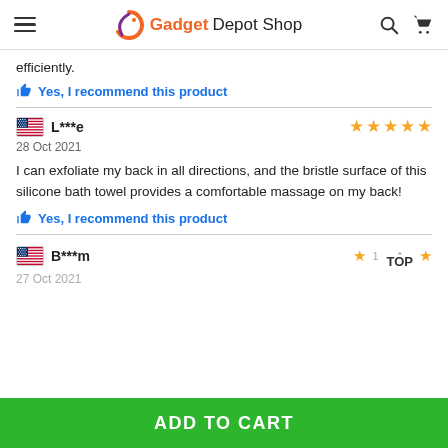Gadget Depot Shop
efficiently.
👍 Yes, I recommend this product
🇺🇸 L***e — 5 stars — 28 Oct 2021
I can exfoliate my back in all directions, and the bristle surface of this silicone bath towel provides a comfortable massage on my back!
👍 Yes, I recommend this product
🇺🇸 B***m — 1 star — 27 Oct 2021
ADD TO CART